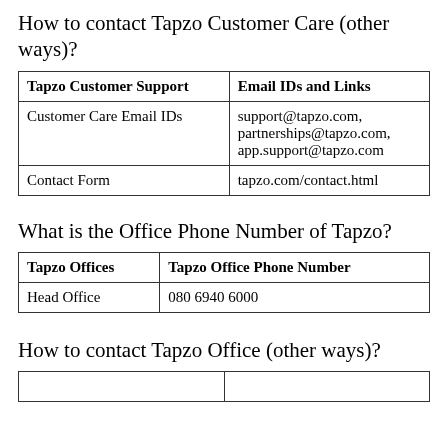How to contact Tapzo Customer Care (other ways)?
| Tapzo Customer Support | Email IDs and Links |
| --- | --- |
| Customer Care Email IDs | support@tapzo.com,
partnerships@tapzo.com,
app.support@tapzo.com |
| Contact Form | tapzo.com/contact.html |
What is the Office Phone Number of Tapzo?
| Tapzo Offices | Tapzo Office Phone Number |
| --- | --- |
| Head Office | 080 6940 6000 |
How to contact Tapzo Office (other ways)?